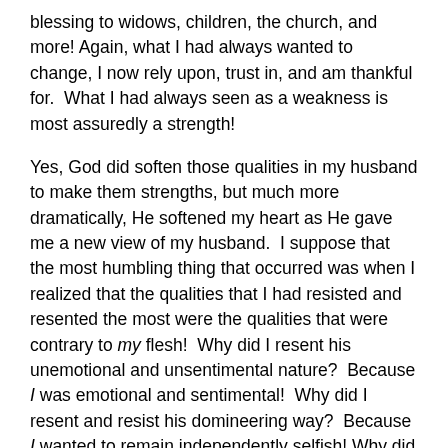blessing to widows, children, the church, and more! Again, what I had always wanted to change, I now rely upon, trust in, and am thankful for. What I had always seen as a weakness is most assuredly a strength!
Yes, God did soften those qualities in my husband to make them strengths, but much more dramatically, He softened my heart as He gave me a new view of my husband. I suppose that the most humbling thing that occurred was when I realized that the qualities that I had resisted and resented the most were the qualities that were contrary to my flesh! Why did I resent his unemotional and unsentimental nature? Because I was emotional and sentimental! Why did I resent and resist his domineering way? Because I wanted to remain independently selfish! Why did I resent and resist his work ethic? Because, by nature, I was plagued with procrastination and laziness!